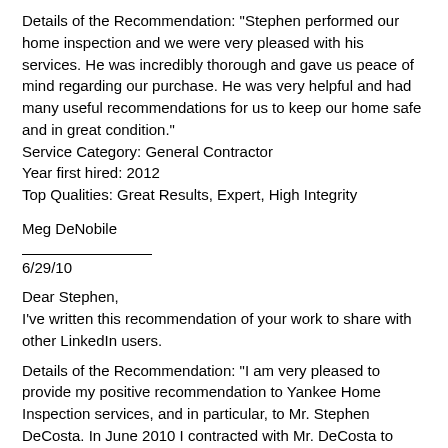Details of the Recommendation: "Stephen performed our home inspection and we were very pleased with his services. He was incredibly thorough and gave us peace of mind regarding our purchase. He was very helpful and had many useful recommendations for us to keep our home safe and in great condition."
Service Category: General Contractor
Year first hired: 2012
Top Qualities: Great Results, Expert, High Integrity
Meg DeNobile
6/29/10
Dear Stephen,
I've written this recommendation of your work to share with other LinkedIn users.
Details of the Recommendation: "I am very pleased to provide my positive recommendation to Yankee Home Inspection services, and in particular, to Mr. Stephen DeCosta. In June 2010 I contracted with Mr. DeCosta to provide his professional services to inspect a house that I was contemplating purchasing. I am pleased to share the